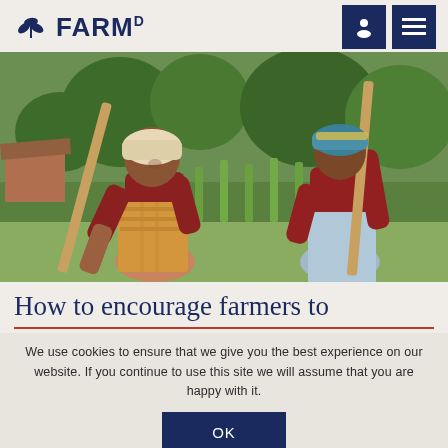FARMD
[Figure (photo): Two African women farming in a field, using hoes/rakes, wearing colorful head wraps and clothing, with green crops and trees in the background]
How to encourage farmers to
We use cookies to ensure that we give you the best experience on our website. If you continue to use this site we will assume that you are happy with it.
OK